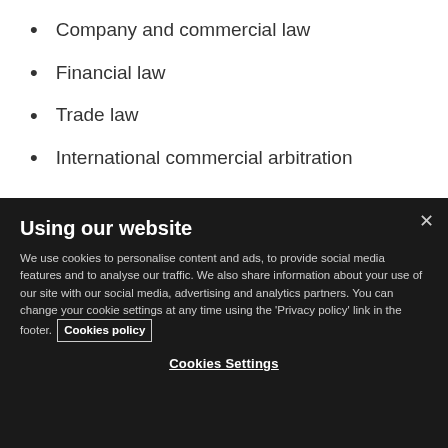Company and commercial law
Financial law
Trade law
International commercial arbitration
Using our website
We use cookies to personalise content and ads, to provide social media features and to analyse our traffic. We also share information about your use of our site with our social media, advertising and analytics partners. You can change your cookie settings at any time using the ‘Privacy policy’ link in the footer. Cookies policy
Cookies Settings